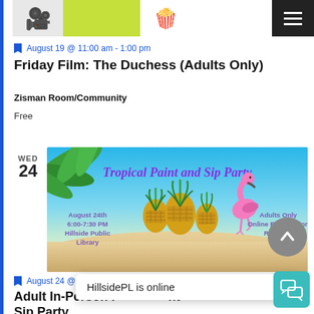[Figure (photo): Top strip showing a camera, green rectangle, and popcorn bucket images]
August 19 @ 11:00 am - 1:00 pm
Friday Film: The Duchess (Adults Only)
Zisman Room/Community
Free
[Figure (photo): Tropical Paint and Sip Party promotional banner with beach scene, pineapples, flamingo, and palm leaves. Text: August 24th 6:00-7:30 PM Hillside Public Library Adults Only Online Registration Required]
August 24 @ 6:00 pm - 7:30 pm
Adult In-Person Paint and Sip Party
HillsidePL is online